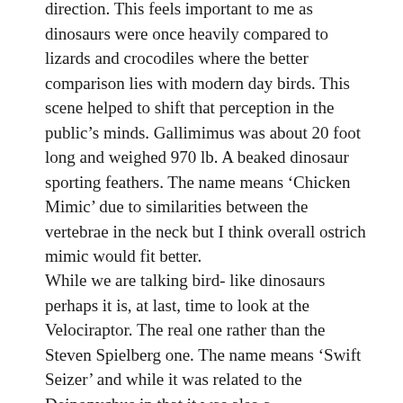direction. This feels important to me as dinosaurs were once heavily compared to lizards and crocodiles where the better comparison lies with modern day birds. This scene helped to shift that perception in the public’s minds. Gallimimus was about 20 foot long and weighed 970 lb. A beaked dinosaur sporting feathers. The name means ‘Chicken Mimic’ due to similarities between the vertebrae in the neck but I think overall ostrich mimic would fit better.
While we are talking bird- like dinosaurs perhaps it is, at last, time to look at the Velociraptor. The real one rather than the Steven Spielberg one. The name means ‘Swift Seizer’ and while it was related to the Deinonychus in that it was also a Dromoaeosaur, the Velociraptor smaller. Like the Deinonychus, the